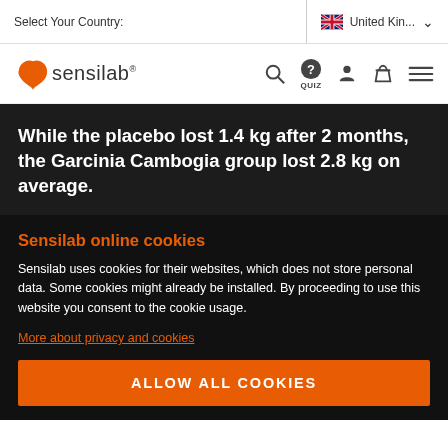Select Your Country: | United Kin... ∨
[Figure (logo): Sensilab logo with orange butterfly/leaf icon and sensilab wordmark]
While the placebo lost 1.4 kg after 2 months, the Garcinia Cambogia group lost 2.8 kg on average.
Sensilab online cookies
Sensilab uses cookies for their websites, which does not store personal data. Some cookies might already be installed. By proceeding to use this website you consent to the cookie usage.
More about privacy and cookies
ALLOW ALL COOKIES